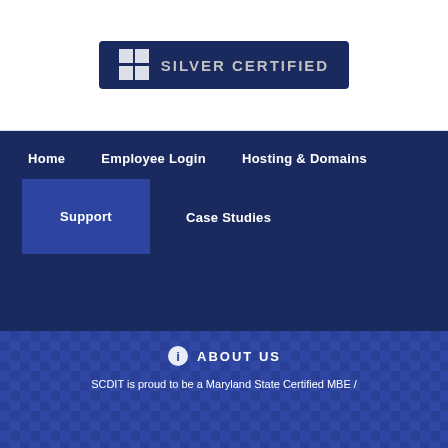[Figure (logo): Microsoft Silver Certified partner badge on dark navy background]
Home
Employee Login
Hosting & Domains
Support
Case Studies
ABOUT US
SCDIT is proud to be a Maryland State Certified MBE /